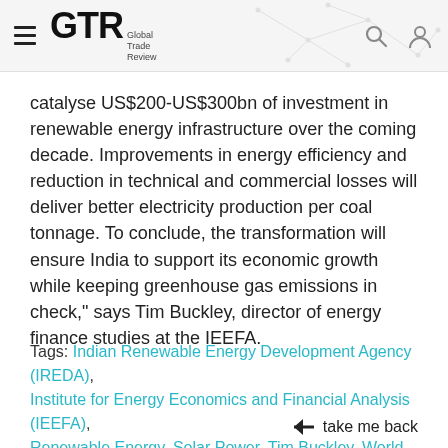GTR Global Trade Review
catalyse US$200-US$300bn of investment in renewable energy infrastructure over the coming decade. Improvements in energy efficiency and reduction in technical and commercial losses will deliver better electricity production per coal tonnage. To conclude, the transformation will ensure India to support its economic growth while keeping greenhouse gas emissions in check," says Tim Buckley, director of energy finance studies at the IEEFA.
Tags: Indian Renewable Energy Development Agency (IREDA), Institute for Energy Economics and Financial Analysis (IEEFA), Renewable Energy, Solar Power, Tim Buckley, World Bank
← take me back